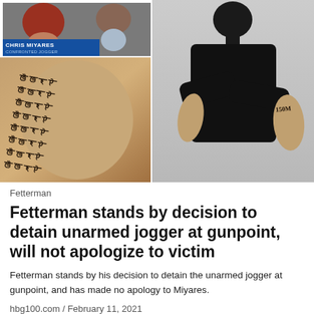[Figure (photo): Composite image: top-left shows a TV news screenshot with chyron reading 'CHRIS MIYARES / CONFRONTED JOGGER'; below that is a close-up of a tattooed arm with script text tattoos; right side shows a person in a black shirt with arms crossed, a tattoo visible on one forearm.]
Fetterman
Fetterman stands by decision to detain unarmed jogger at gunpoint, will not apologize to victim
Fetterman stands by his decision to detain the unarmed jogger at gunpoint, and has made no apology to Miyares.
hbg100.com  /  February 11, 2021